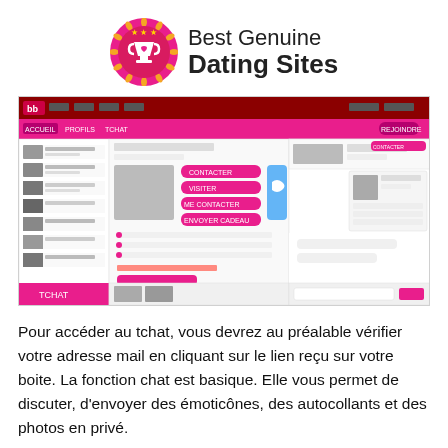[Figure (logo): Best Genuine Dating Sites logo: trophy cup icon with stars on pink/orange circular badge, next to text 'Best Genuine Dating Sites']
[Figure (screenshot): Screenshot of a dating website interface showing user profiles on the left, a profile page with pink/red action buttons (contact, visit, etc.), and a chat window on the right side. The site has a dark red/pink header bar.]
Pour accéder au tchat, vous devrez au préalable vérifier votre adresse mail en cliquant sur le lien reçu sur votre boite. La fonction chat est basique. Elle vous permet de discuter, d'envoyer des émoticônes, des autocollants et des photos en privé.